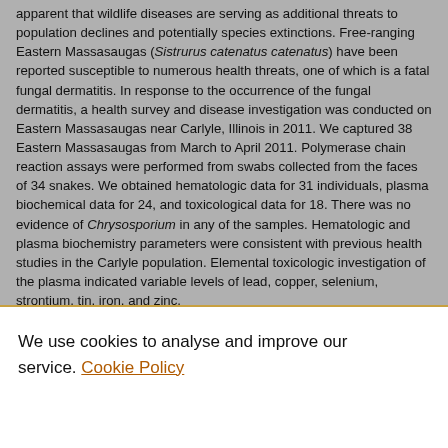apparent that wildlife diseases are serving as additional threats to population declines and potentially species extinctions. Free-ranging Eastern Massasaugas (Sistrurus catenatus catenatus) have been reported susceptible to numerous health threats, one of which is a fatal fungal dermatitis. In response to the occurrence of the fungal dermatitis, a health survey and disease investigation was conducted on Eastern Massasaugas near Carlyle, Illinois in 2011. We captured 38 Eastern Massasaugas from March to April 2011. Polymerase chain reaction assays were performed from swabs collected from the faces of 34 snakes. We obtained hematologic data for 31 individuals, plasma biochemical data for 24, and toxicological data for 18. There was no evidence of Chrysosporium in any of the samples. Hematologic and plasma biochemistry parameters were consistent with previous health studies in the Carlyle population. Elemental toxicologic investigation of the plasma indicated variable levels of lead, copper, selenium, strontium, tin, iron, and zinc.
We use cookies to analyse and improve our service. Cookie Policy